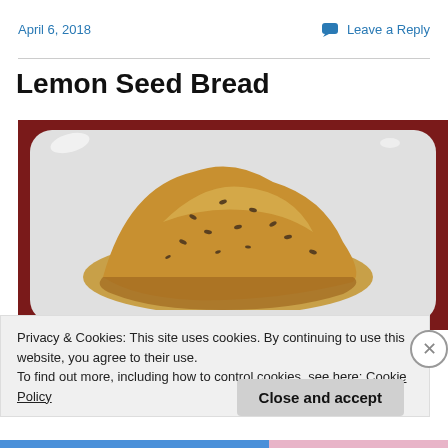April 6, 2018
Leave a Reply
Lemon Seed Bread
[Figure (photo): A piece of lemon seed bread on a white rectangular plate, with a dark red background. The bread appears golden-brown with visible seeds on top.]
Privacy & Cookies: This site uses cookies. By continuing to use this website, you agree to their use.
To find out more, including how to control cookies, see here: Cookie Policy
Close and accept